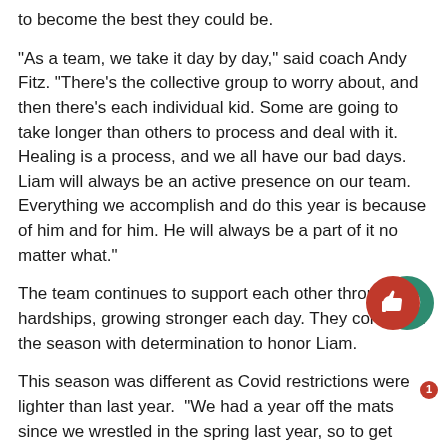to become the best they could be.
“As a team, we take it day by day,” said coach Andy Fitz. “There’s the collective group to worry about, and then there’s each individual kid. Some are going to take longer than others to process and deal with it. Healing is a process, and we all have our bad days. Liam will always be an active presence on our team. Everything we accomplish and do this year is because of him and for him. He will always be a part of it no matter what.”
The team continues to support each other through the hardships, growing stronger each day. They continued the season with determination to honor Liam.
This season was different as Covid restrictions were lighter than last year. “We had a year off the mats since we wrestled in the spring last year, so to get back to the big ruckus of crowds and tremendous student support, it gives me goosebumps just talking about it,” s… Fitz.
The boys started this season off with an amazing win against